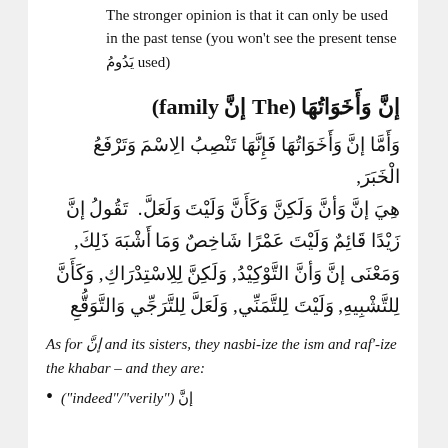The stronger opinion is that it can only be used in the past tense (you won't see the present tense يَدُومُ used)
إنَّ وَأَخَوَاتُهَا (The إنَّ family)
وَأَمَّا إنَّ وَأَخَوَاتُهَا فَإِنَّهَا تَنْصِبُ الاِسْمَ وَتَرْفَعُ الْخَبَرَ, هِيَ إنَّ وَأنَّ وَلَكِنَّ وَكَأَنَّ وَلَيْتَ وَلَعَلَّ. تَقُولُ إنَّ زَيْدًا قَائِمٌ وَلَيْتَ عَمْرًا شَاخِصٌ وَمَا أَشْبَهَ ذَلِكَ, وَمَعْنَى إنَّ وَأنَّ التَّوْكِيْدُ, وَلَكِنَّ لِلِاسْتِدْرَاكِ, وَكَأَنَّ لِلتَّشْبِيهِ, وَلَيْتَ لِلتَّمَنِّي, وَلَعَلَّ لِلتَّرَجِّي وَالتَّوَقُّعِ
As for إنَّ and its sisters, they nasbi-ize the ism and raf'-ize the khabar – and they are:
إنَّ ("indeed"/"verily")